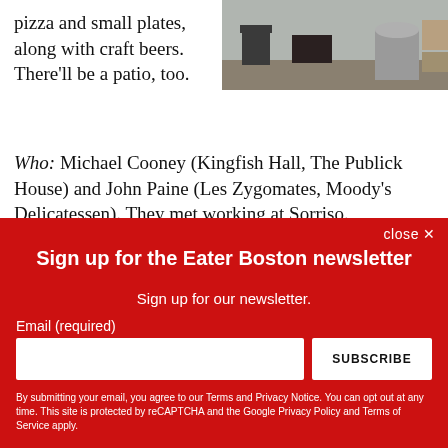pizza and small plates, along with craft beers. There'll be a patio, too.
[Figure (photo): Interior photo of a space with chairs and industrial barrel/container]
Who: Michael Cooney (Kingfish Hall, The Publick House) and John Paine (Les Zygomates, Moody's Delicatessen). They met working at Sorriso.
Wh...
close ✕
Sign up for the Eater Boston newsletter
Sign up for our newsletter.
Email (required)
SUBSCRIBE
By submitting your email, you agree to our Terms and Privacy Notice. You can opt out at any time. This site is protected by reCAPTCHA and the Google Privacy Policy and Terms of Service apply.